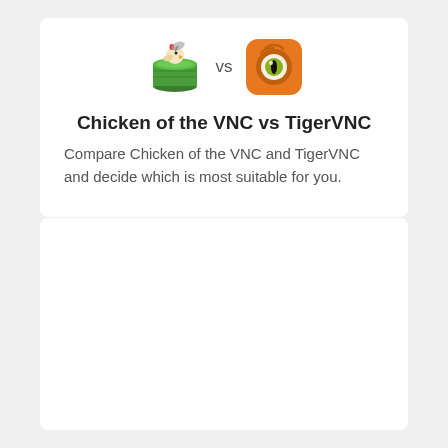[Figure (illustration): Two app icons side by side with 'vs' text between them: left icon is Chicken of the VNC (green tin can with chicken), right icon is TigerVNC (orange rounded square with tiger eye logo)]
Chicken of the VNC vs TigerVNC
Compare Chicken of the VNC and TigerVNC and decide which is most suitable for you.